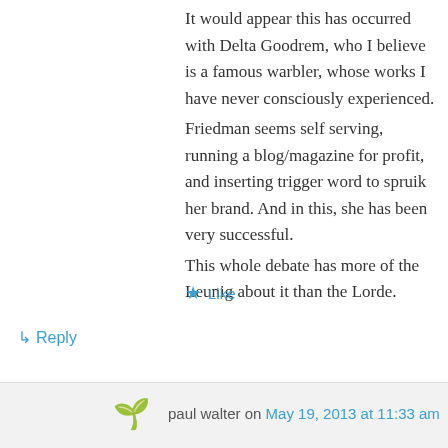It would appear this has occurred with Delta Goodrem, who I believe is a famous warbler, whose works I have never consciously experienced.
Friedman seems self serving, running a blog/magazine for profit, and inserting trigger word to spruik her brand. And in this, she has been very successful.
This whole debate has more of the Leunig about it than the Lorde.
★ Like
↳ Reply
paul walter on May 19, 2013 at 11:33 am